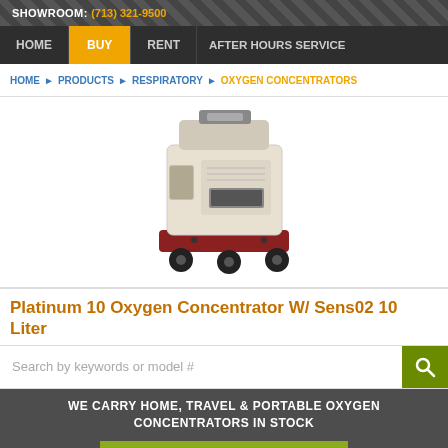SHOWROOM: (713) 321-9500
HOME | BUY | RENT | AFTER HOURS SERVICE
HOME ▶ PRODUCTS ▶ RESPIRATORY ▶ OXYGEN CONCENTRATORS
[Figure (photo): Platinum 10 Oxygen Concentrator on wheeled base, cream/beige colored unit with dark red/maroon wheeled platform]
Platinum 10 Oxygen Concentrator W/ Sens02 10 Liter
Search by keywords or model #
WE CARRY HOME, TRAVEL & PORTABLE OXYGEN CONCENTRATORS IN STOCK
DROP THE TANK NOW